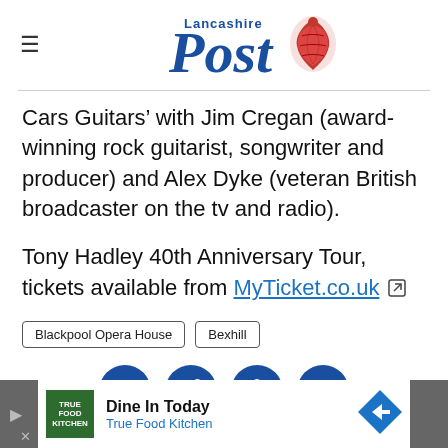Lancashire Post
Cars Guitars' with Jim Cregan (award-winning rock guitarist, songwriter and producer) and Alex Dyke (veteran British broadcaster on the tv and radio).
Tony Hadley 40th Anniversary Tour, tickets available from MyTicket.co.uk
Blackpool Opera House
Bexhill
[Figure (infographic): Social sharing icons: Facebook, Twitter, Info/share, Email — circular dark blue buttons]
[Figure (infographic): Advertisement bar: True Food Kitchen - Dine In Today]